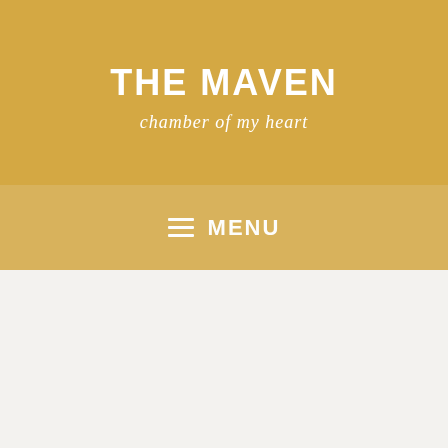THE MAVEN
chamber of my heart
≡ MENU